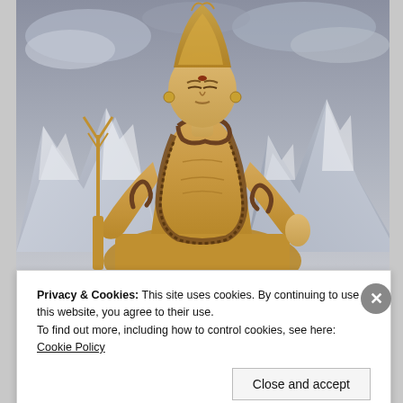[Figure (photo): A large golden statue of Lord Shiva seated in meditation pose, holding a trident, with snakes around his neck and a tall matted hair bun (jata). The background shows snow-covered mountains and a cloudy grey sky.]
Privacy & Cookies: This site uses cookies. By continuing to use this website, you agree to their use.
To find out more, including how to control cookies, see here: Cookie Policy
Close and accept